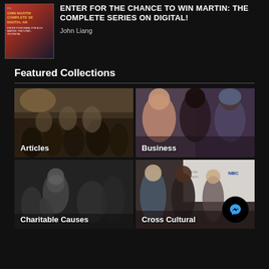[Figure (photo): Book or promotional image for Martin: The Complete Series on Digital, red cover with text]
ENTER FOR THE CHANCE TO WIN MARTIN: THE COMPLETE SERIES ON DIGITAL!
John Liang
Featured Collections
[Figure (photo): Collection thumbnail labeled Articles - group of people seated in a discussion or event setting]
[Figure (photo): Collection thumbnail labeled Business - three women posing together]
[Figure (photo): Collection thumbnail labeled Charitable Causes - black and white photo of people at an event]
[Figure (photo): Collection thumbnail labeled Cross Cultural - people at an NBC event/premiere with Messenger chat button overlay]